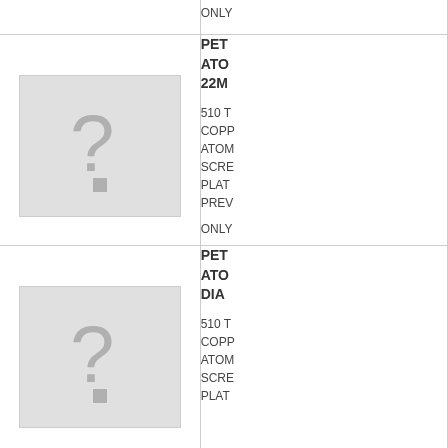| [image] | ONLY... |
| [image] | PET...
ATO...
22M...

510 T...
COPP...
ATOM...
SCRE...
PLAT...
PREV...

ONLY... |
| [image] | PET...
ATO...
DIA...

510 T...
COPP...
ATOM...
SCRE...
PLAT... |